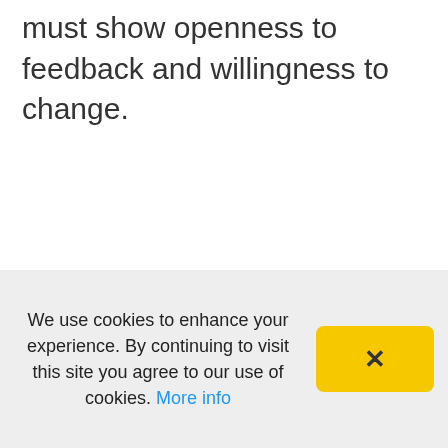must show openness to feedback and willingness to change.
We use cookies to enhance your experience. By continuing to visit this site you agree to our use of cookies. More info